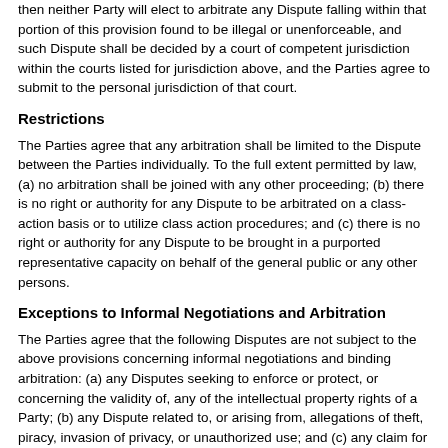then neither Party will elect to arbitrate any Dispute falling within that portion of this provision found to be illegal or unenforceable, and such Dispute shall be decided by a court of competent jurisdiction within the courts listed for jurisdiction above, and the Parties agree to submit to the personal jurisdiction of that court.
Restrictions
The Parties agree that any arbitration shall be limited to the Dispute between the Parties individually. To the full extent permitted by law, (a) no arbitration shall be joined with any other proceeding; (b) there is no right or authority for any Dispute to be arbitrated on a class-action basis or to utilize class action procedures; and (c) there is no right or authority for any Dispute to be brought in a purported representative capacity on behalf of the general public or any other persons.
Exceptions to Informal Negotiations and Arbitration
The Parties agree that the following Disputes are not subject to the above provisions concerning informal negotiations and binding arbitration: (a) any Disputes seeking to enforce or protect, or concerning the validity of, any of the intellectual property rights of a Party; (b) any Dispute related to, or arising from, allegations of theft, piracy, invasion of privacy, or unauthorized use; and (c) any claim for injunctive relief. If thi